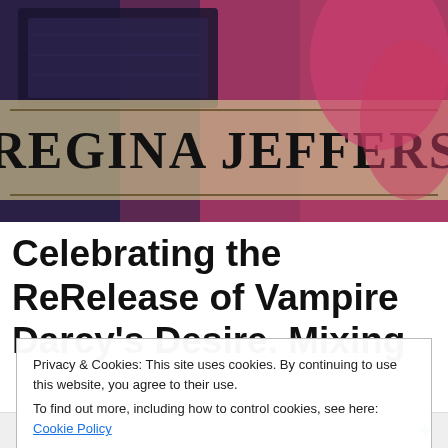[Figure (photo): Banner header image for Regina Jeffers blog. Shows a woman in a pink/magenta satin dress near a dark stone or sarcophagus surface, with a large text overlay reading 'REGINA JEFFERS' in a serif font between two horizontal rules on a semi-transparent tan/beige background.]
Celebrating the ReRelease of Vampire Darcy's Desire. Mixing
Privacy & Cookies: This site uses cookies. By continuing to use this website, you agree to their use.
To find out more, including how to control cookies, see here: Cookie Policy